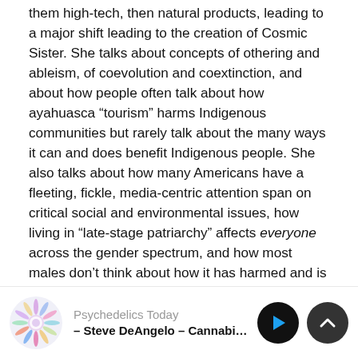them high-tech, then natural products, leading to a major shift leading to the creation of Cosmic Sister. She talks about concepts of othering and ableism, of coevolution and coextinction, and about how people often talk about how ayahuasca “tourism” harms Indigenous communities but rarely talk about the many ways it can and does benefit Indigenous people. She also talks about how many Americans have a fleeting, fickle, media-centric attention span on critical social and environmental issues, how living in “late-stage patriarchy” affects everyone across the gender spectrum, and how most males don’t think about how it has harmed and is still harming them.
They talk about Zoe’s “Ancestor Medicine” and colonization and the decolonization movement. She talks about ancient Mycenaean and Minoan civilizations and…
Psychedelics Today – Steve DeAngelo – Cannabis and F